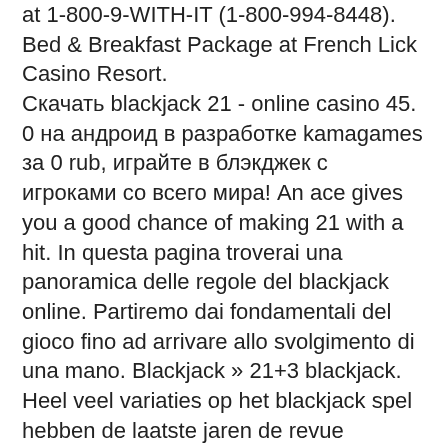at 1-800-9-WITH-IT (1-800-994-8448). Bed & Breakfast Package at French Lick Casino Resort. Скачать blackjack 21 - online casino 45. 0 на андроид в разработке kamagames за 0 rub, играйте в блэкджек с игроками со всего мира! An ace gives you a good chance of making 21 with a hit. In questa pagina troverai una panoramica delle regole del blackjack online. Partiremo dai fondamentali del gioco fino ad arrivare allo svolgimento di una mano. Blackjack » 21+3 blackjack. Heel veel variaties op het blackjack spel hebben de laatste jaren de revue gepasseerd, maar deze combinatie van three card poker. Free bet blackjack: minimum bet $20. You must beat the dealer's hand without going over 21. The casino du lac-leamy has all you need for a great time. Players may elect to draw additional cards until they break or reach a hard or soft total